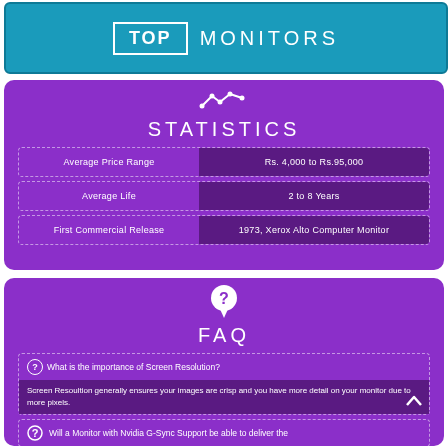[Figure (infographic): Teal banner with TOP box and MONITORS text]
[Figure (infographic): Statistics section with purple background showing average price range Rs. 4,000 to Rs.95,000, average life 2 to 8 Years, first commercial release 1973 Xerox Alto Computer Monitor]
[Figure (infographic): FAQ section with question mark icon, FAQ title, and two FAQ items about screen resolution and Nvidia G-Sync]